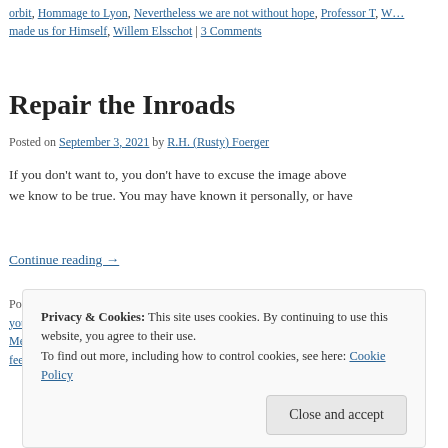orbit, Hommage to Lyon, Nevertheless we are not without hope, Professor T, We made us for Himself, Willem Elsschot | 3 Comments
Repair the Inroads
Posted on September 3, 2021 by R.H. (Rusty) Foerger
If you don't want to, you don't have to excuse the image above we know to be true. You may have known it personally, or have
Continue reading →
Posted in Proverbs | Tagged Be transformed by the renewing of your mind, F yourself in the presence of God, Repair the inroads the world has made, Ron Merton, You are made in the image of what you desire, You are shaped by the feed your mind | Leave a comment
Privacy & Cookies: This site uses cookies. By continuing to use this website, you agree to their use.
To find out more, including how to control cookies, see here: Cookie Policy
Close and accept